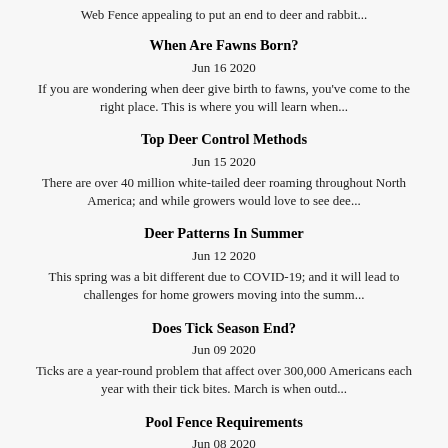Web Fence appealing to put an end to deer and rabbit...
When Are Fawns Born?
Jun 16 2020
If you are wondering when deer give birth to fawns, you've come to the right place. This is where you will learn when...
Top Deer Control Methods
Jun 15 2020
There are over 40 million white-tailed deer roaming throughout North America; and while growers would love to see dee...
Deer Patterns In Summer
Jun 12 2020
This spring was a bit different due to COVID-19; and it will lead to challenges for home growers moving into the summ...
Does Tick Season End?
Jun 09 2020
Ticks are a year-round problem that affect over 300,000 Americans each year with their tick bites. March is when outd...
Pool Fence Requirements
Jun 08 2020
Having a swimming pool provides a source of entertainment for...